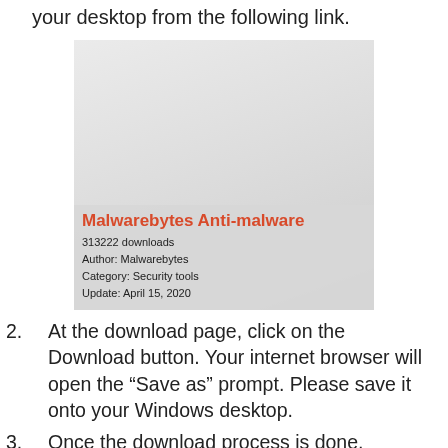your desktop from the following link.
[Figure (screenshot): Screenshot of Malwarebytes Anti-malware download page widget showing product title in red, download count, author, category, and update date.]
2. At the download page, click on the Download button. Your internet browser will open the “Save as” prompt. Please save it onto your Windows desktop.
3. Once the download process is done, please close all applications and open windows on your personal